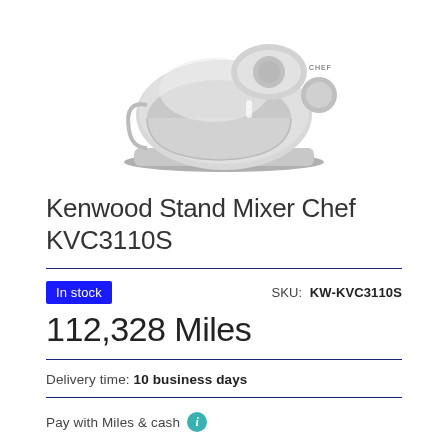[Figure (photo): Kenwood stand mixer Chef KVC3110S in silver/grey color, partially cropped showing the bowl and body of the mixer on a white background]
Kenwood Stand Mixer Chef KVC3110S
In stock   SKU: KW-KVC3110S
112,328 Miles
Delivery time: 10 business days
Pay with Miles & cash i